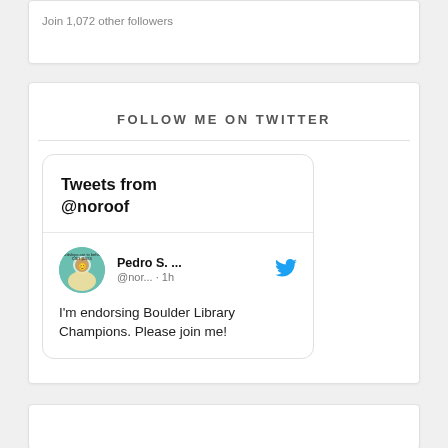Join 1,072 other followers
FOLLOW ME ON TWITTER
[Figure (screenshot): Twitter widget showing 'Tweets from @noroof' with a tweet by Pedro S. (@nor...) posted 1h ago reading: I'm endorsing Boulder Library Champions. Please join me!]